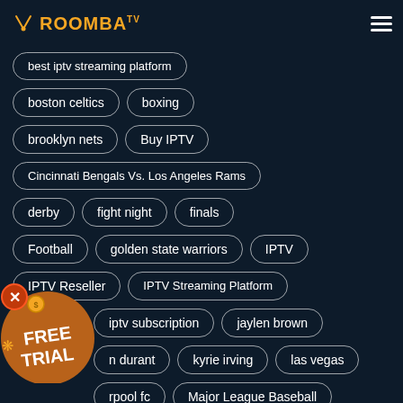[Figure (logo): Roomba TV logo with antenna icon and orange text]
best iptv streaming platform
boston celtics
boxing
brooklyn nets
Buy IPTV
Cincinnati Bengals Vs. Los Angeles Rams
derby
fight night
finals
Football
golden state warriors
IPTV
IPTV Reseller
IPTV Streaming Platform
iptv subscription
jaylen brown
n durant
kyrie irving
las vegas
rpool fc
Major League Baseball
[Figure (infographic): Free Trial badge - orange circular badge with X button, coin, FREE TRIAL text]